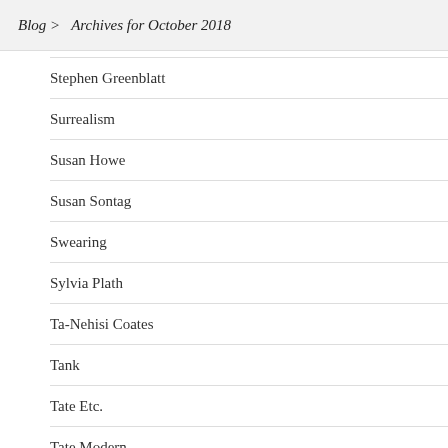Blog > Archives for October 2018
Stephen Greenblatt
Surrealism
Susan Howe
Susan Sontag
Swearing
Sylvia Plath
Ta-Nehisi Coates
Tank
Tate Etc.
Tate Modern
Tech